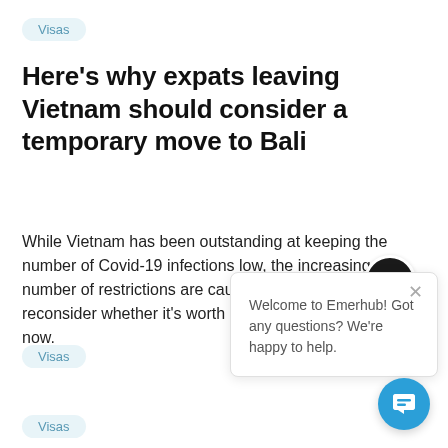Visas
Here's why expats leaving Vietnam should consider a temporary move to Bali
While Vietnam has been outstanding at keeping the number of Covid-19 infections low, the increasing number of restrictions are causing many expats to reconsider whether it's worth staying in Vietnam right now.
[Figure (screenshot): Emerhub chat widget popup with avatar logo and message: Welcome to Emerhub! Got any questions? We're happy to help.]
Visas
Visas